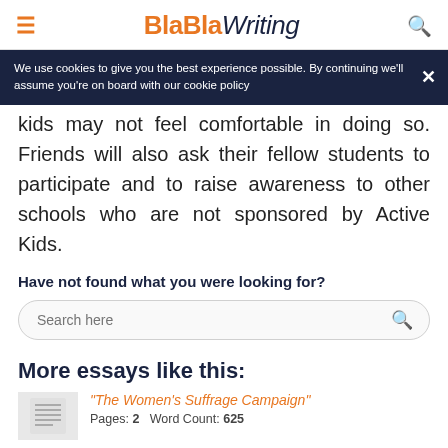BlaBlaWriting
We use cookies to give you the best experience possible. By continuing we'll assume you're on board with our cookie policy
kids may not feel comfortable in doing so. Friends will also ask their fellow students to participate and to raise awareness to other schools who are not sponsored by Active Kids.
Have not found what you were looking for?
Search here
More essays like this:
"The Women's Suffrage Campaign" Pages: 2  Word Count: 625